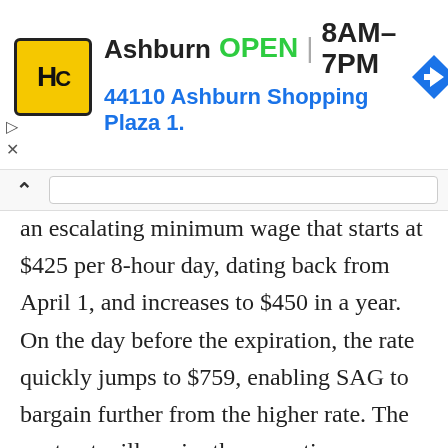[Figure (screenshot): Advertisement banner for H&C hardware store in Ashburn, showing logo, OPEN status, hours 8AM-7PM, and address 44110 Ashburn Shopping Plaza 1.]
an escalating minimum wage that starts at $425 per 8-hour day, dating back from April 1, and increases to $450 in a year. On the day before the expiration, the rate quickly jumps to $759, enabling SAG to bargain further from the higher rate. The contract will expire the same time as SAG’s Television Agreement and Codified Basic Agreement, potentially giving the union more leverage. As DGA president Michael Apted expressed, “This deal marks the first of many to come and illustrates how by working together with